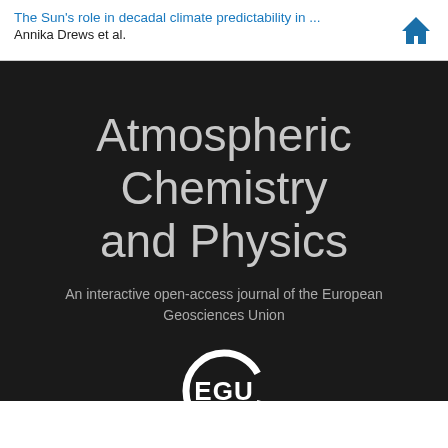The Sun's role in decadal climate predictability in ...
Annika Drews et al.
Atmospheric Chemistry and Physics
An interactive open-access journal of the European Geosciences Union
[Figure (logo): EGU circular logo in white on dark background]
[Figure (logo): Copernicus Publications logo with stylized flame icon and text]